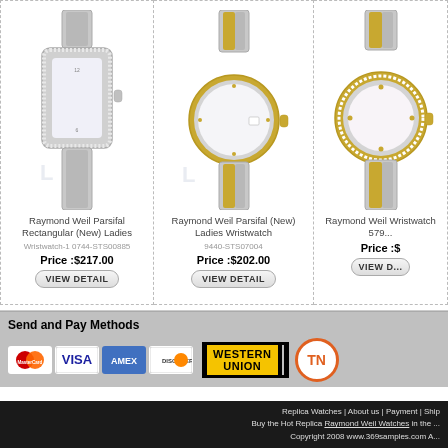[Figure (photo): Raymond Weil Parsifal Rectangular (New) Ladies Wristwatch - silver bracelet with diamond-set rectangular case]
Raymond Weil Parsifal Rectangular (New) Ladies Wristwatch
Price :$217.00
VIEW DETAIL
[Figure (photo): Raymond Weil Parsifal (New) Ladies Wristwatch - two-tone gold and silver bracelet with round case]
Raymond Weil Parsifal (New) Ladies Wristwatch
Price :$202.00
VIEW DETAIL
[Figure (photo): Raymond Weil Wristwatch 579... - two-tone with diamond bezel]
Raymond Weil Wristwatch 579...
Price :$...
VIEW D...
Send and Pay Methods
[Figure (logo): MasterCard logo]
[Figure (logo): VISA logo]
[Figure (logo): AMEX logo]
[Figure (logo): Discover logo]
[Figure (logo): Western Union logo - black background with yellow text]
[Figure (logo): TNT logo - orange circle with TNT text]
Replica Watches | About us | Payment | Ship Buy the Hot Replica Raymond Weil Watches in the ... Copyright 2008 www.369samples.com A...